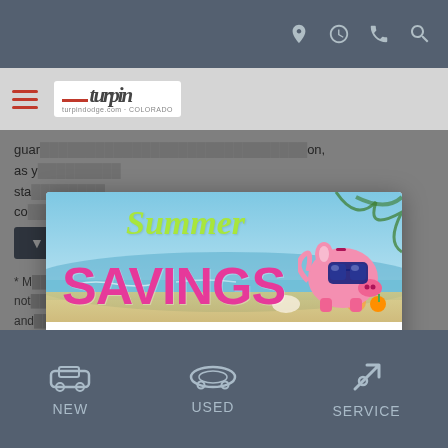Top navigation bar with location, hours, phone, search icons
[Figure (screenshot): Turpin dealership logo in white box]
guar... | FILTERS | 4 applied [Clear] ...on, as y... sta... co...
[Figure (infographic): Summer Savings promotional modal popup with piggy bank wearing sunglasses on beach background, and SEE DISCOUNTS! button]
* M... ...oes not... and... cos...
* The estimated selling price that appears after calculating dealer offers is for informational purposes only. You may not qualify for the offers, incentives, or
NEW   USED   SERVICE